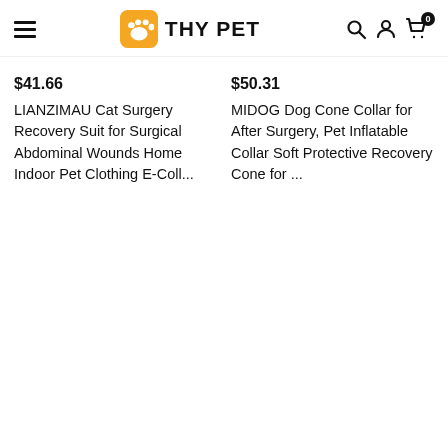THY PET
$41.66
LIANZIMAU Cat Surgery Recovery Suit for Surgical Abdominal Wounds Home Indoor Pet Clothing E-Coll...
$50.31
MIDOG Dog Cone Collar for After Surgery, Pet Inflatable Collar Soft Protective Recovery Cone for ...